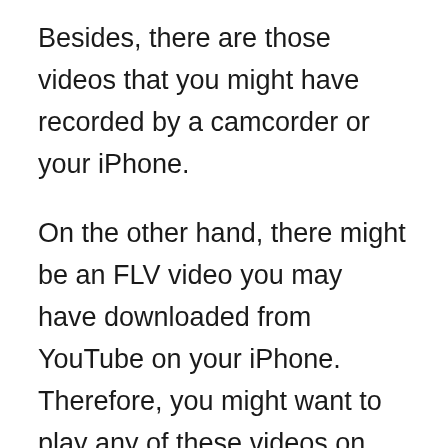Besides, there are those videos that you might have recorded by a camcorder or your iPhone.
On the other hand, there might be an FLV video you may have downloaded from YouTube on your iPhone. Therefore, you might want to play any of these videos on your device.
However, don't you hate it when the moment you want to play a video the imageboard alerts you that the video cannot be played because the file format is